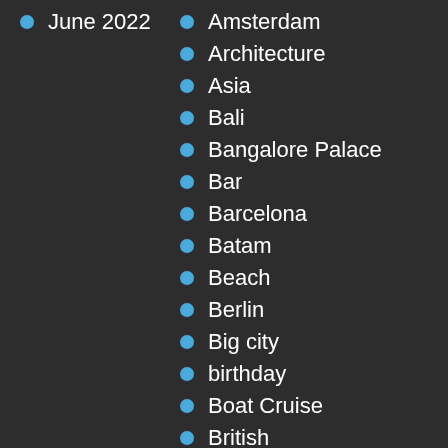June 2022
Amsterdam
Architecture
Asia
Bali
Bangalore Palace
Bar
Barcelona
Batam
Beach
Berlin
Big city
birthday
Boat Cruise
British
Bucharest